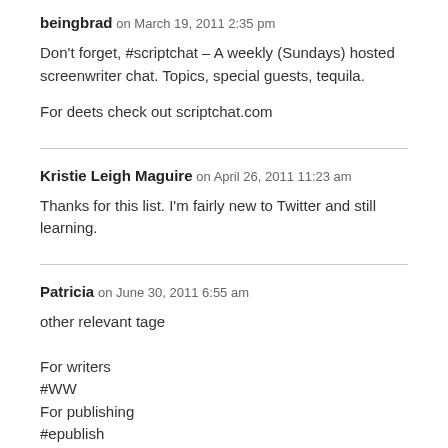beingbrad on March 19, 2011 2:35 pm
Don't forget, #scriptchat – A weekly (Sundays) hosted screenwriter chat. Topics, special guests, tequila.
For deets check out scriptchat.com
Kristie Leigh Maguire on April 26, 2011 11:23 am
Thanks for this list. I'm fairly new to Twitter and still learning.
Patricia on June 30, 2011 6:55 am
other relevant tage

For writers
#WW
For publishing
#epublish
#publishabook
Dianna Zaragoza on July 06, 2011 6:40 pm
Has anyone seen the tag #myWANA? What does that one mean? I see a